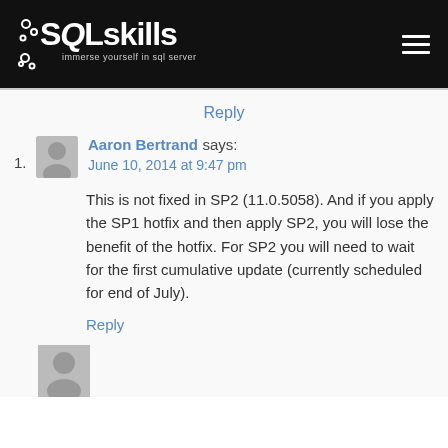[Figure (logo): SQLskills logo with white text on black background, tagline 'immerse yourself in sql server']
Reply
1. Aaron Bertrand says: June 10, 2014 at 9:47 pm
This is not fixed in SP2 (11.0.5058). And if you apply the SP1 hotfix and then apply SP2, you will lose the benefit of the hotfix. For SP2 you will need to wait for the first cumulative update (currently scheduled for end of July).
Reply